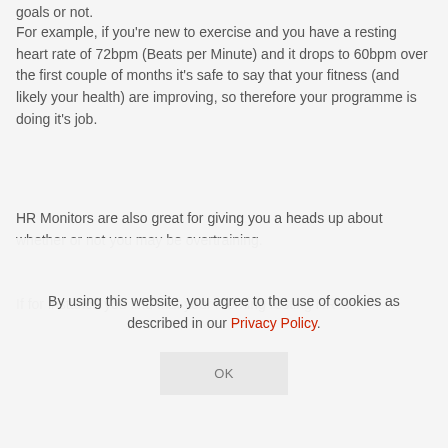goals or not.
For example, if you're new to exercise and you have a resting heart rate of 72bpm (Beats per Minute) and it drops to 60bpm over the first couple of months it's safe to say that your fitness (and likely your health) are improving, so therefore your programme is doing it's job.
HR Monitors are also great for giving you a heads up about whether or not you may be overtraining.
If for instance you find that your morning resting HR is
By using this website, you agree to the use of cookies as described in our Privacy Policy.